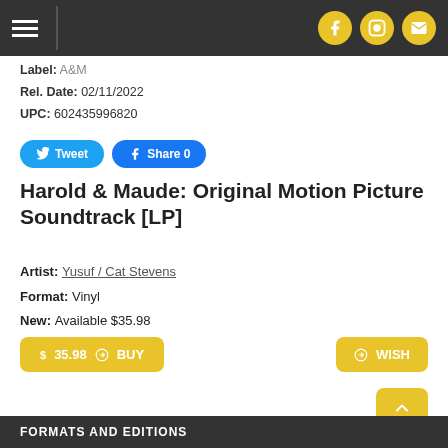Navigation header with hamburger menu and social icons (Facebook, Instagram, Email)
Label: A&M
Rel. Date: 02/11/2022
UPC: 602435996820
Tweet   Share 0
Harold & Maude: Original Motion Picture Soundtrack [LP]
Artist: Yusuf / Cat Stevens
Format: Vinyl
New: Available $35.98
$ 35.98  BUY   WISH
FORMATS AND EDITIONS